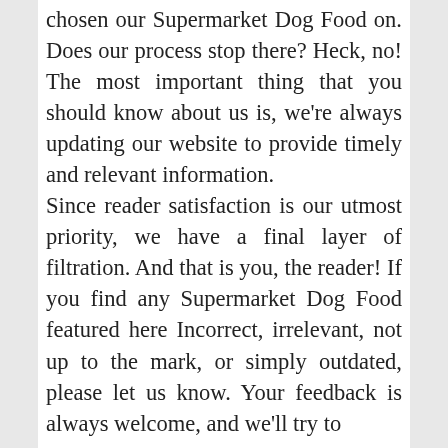chosen our Supermarket Dog Food on. Does our process stop there? Heck, no! The most important thing that you should know about us is, we're always updating our website to provide timely and relevant information. Since reader satisfaction is our utmost priority, we have a final layer of filtration. And that is you, the reader! If you find any Supermarket Dog Food featured here Incorrect, irrelevant, not up to the mark, or simply outdated, please let us know. Your feedback is always welcome, and we'll try to